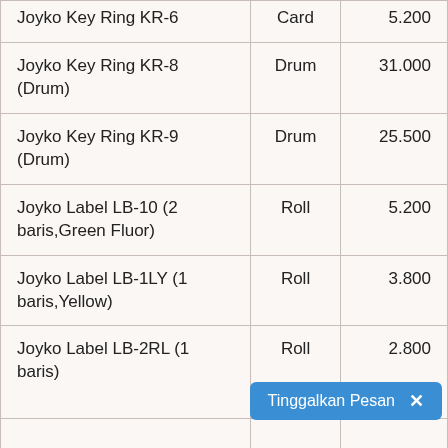| Product | Unit | Price |
| --- | --- | --- |
| Joyko Key Ring KR-6 | Card | 5.200 |
| Joyko Key Ring KR-8 (Drum) | Drum | 31.000 |
| Joyko Key Ring KR-9 (Drum) | Drum | 25.500 |
| Joyko Label LB-10 (2 baris,Green Fluor) | Roll | 5.200 |
| Joyko Label LB-1LY (1 baris,Yellow) | Roll | 3.800 |
| Joyko Label LB-2RL (1 baris) | Roll | 2.800 |
Tinggalkan Pesan ×